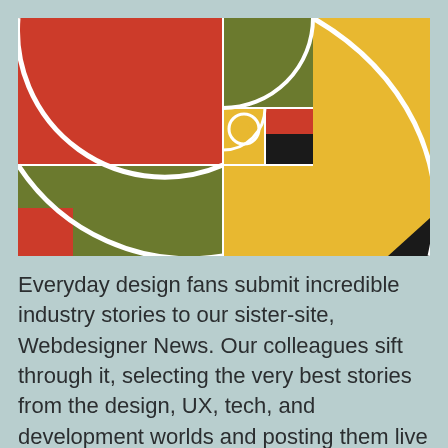[Figure (illustration): Golden ratio / Fibonacci spiral illustration with colored rectangular sections: large red quarter-circle top-left, olive/green square top-center-left, large golden-yellow rectangle on the right, olive-green rectangle bottom-left, red corner bottom-left, small black and golden squares with white circle in the center, black triangle bottom-right corner. White spiral arc overlays the sections.]
Everyday design fans submit incredible industry stories to our sister-site, Webdesigner News. Our colleagues sift through it, selecting the very best stories from the design, UX, tech, and development worlds and posting them live